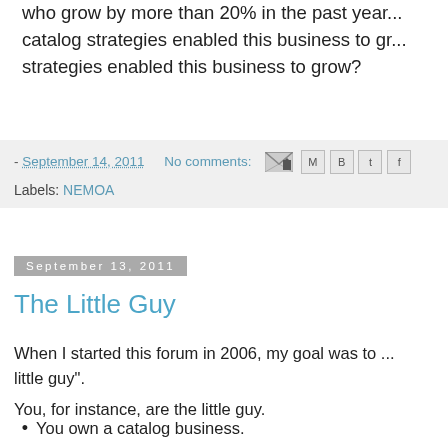who grow by more than 20% in the past year... catalog strategies enabled this business to gr... strategies enabled this business to grow?
- September 14, 2011   No comments:   [icons]
Labels: NEMOA
September 13, 2011
The Little Guy
When I started this forum in 2006, my goal was to ... little guy".
You, for instance, are the little guy.
You own a catalog business.
You are a web analyst.